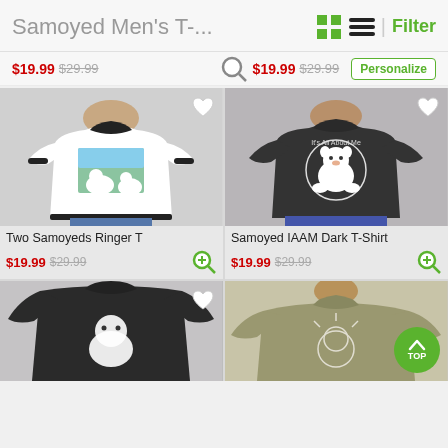Samoyed Men's T-...
$19.99 $29.99 | $19.99 $29.99 | Personalize
[Figure (photo): Man wearing white ringer t-shirt with two Samoyeds painting on it]
Two Samoyeds Ringer T
$19.99 $29.99
[Figure (photo): Man wearing black t-shirt with cartoon Samoyed IAAM design]
Samoyed IAAM Dark T-Shirt
$19.99 $29.99
[Figure (photo): Man wearing black t-shirt with Samoyed design, partial view]
[Figure (photo): Man wearing khaki/olive t-shirt with Samoyed design, partial view]